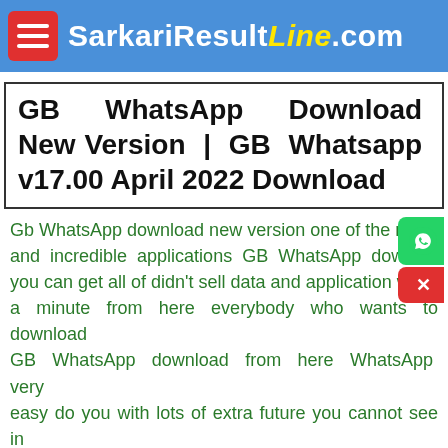SarkariResultLine.com
GB WhatsApp Download New Version | GB Whatsapp v17.00 April 2022 Download
Gb WhatsApp download new version one of the most and incredible applications GB WhatsApp down you can get all of didn't sell data and application w a minute from here everybody who wants to download GB WhatsApp download from here WhatsApp very easy do you with lots of extra future you cannot see in normal WhatsApp if you want to download GB WhatsApp you need to know to be ready I can show you how you can download GB WhatsApp from here in free very easy.